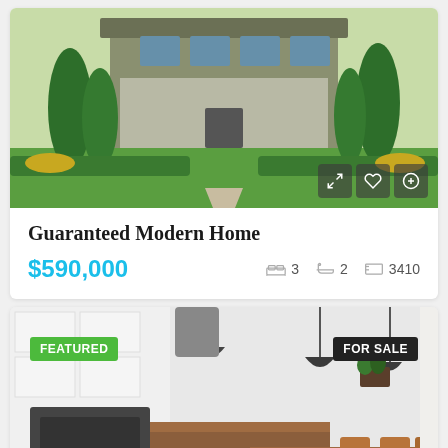[Figure (photo): Exterior photo of a modern home with green lawn, trimmed hedges, and tall cypress trees]
Guaranteed Modern Home
$590,000  🛏 3  🛁 2  📐 3410
[Figure (photo): Interior kitchen photo with white cabinets, pendant lights, wooden dining table and chairs, with FEATURED and FOR SALE badges]